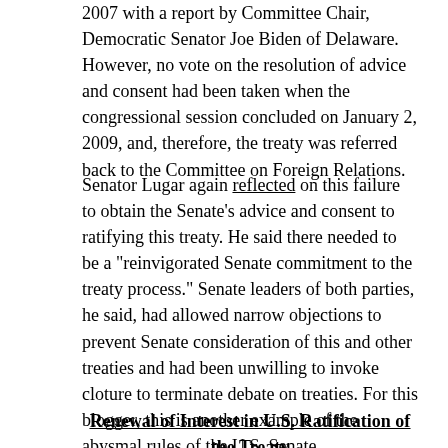2007 with a report by Committee Chair, Democratic Senator Joe Biden of Delaware. However, no vote on the resolution of advice and consent had been taken when the congressional session concluded on January 2, 2009, and, therefore, the treaty was referred back to the Committee on Foreign Relations.
Senator Lugar again reflected on this failure to obtain the Senate’s advice and consent to ratifying this treaty. He said there needed to be a “reinvigorated Senate commitment to the treaty process.” Senate leaders of both parties, he said, had allowed narrow objections to prevent Senate consideration of this and other treaties and had been unwilling to invoke cloture to terminate debate on treaties. For this blogger, this is another example of the abysmal rules of the U.S. Senate.
Renewal of Interest in U.S. Ratification of the Treaty